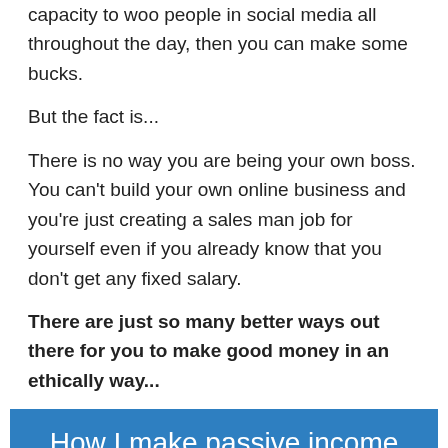capacity to woo people in social media all throughout the day, then you can make some bucks.
But the fact is...
There is no way you are being your own boss. You can't build your own online business and you're just creating a sales man job for yourself even if you already know that you don't get any fixed salary.
There are just so many better ways out there for you to make good money in an ethically way...
[Figure (other): Blue button with text: How I make passive income online]
MLMs are not scams or illegal. However, I'm not a fan of them because of the restrictions to the